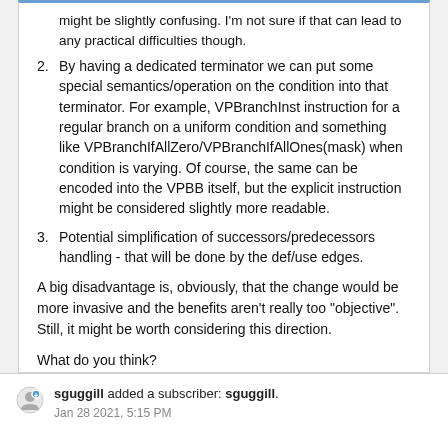might be slightly confusing. I'm not sure if that can lead to any practical difficulties though.
2. By having a dedicated terminator we can put some special semantics/operation on the condition into that terminator. For example, VPBranchInst instruction for a regular branch on a uniform condition and something like VPBranchIfAllZero/VPBranchIfAllOnes(mask) when condition is varying. Of course, the same can be encoded into the VPBB itself, but the explicit instruction might be considered slightly more readable.
3. Potential simplification of successors/predecessors handling - that will be done by the def/use edges.
A big disadvantage is, obviously, that the change would be more invasive and the benefits aren't really too "objective". Still, it might be worth considering this direction.
What do you think?
sguggill added a subscriber: sguggill.
Jan 28 2021, 5:15 PM